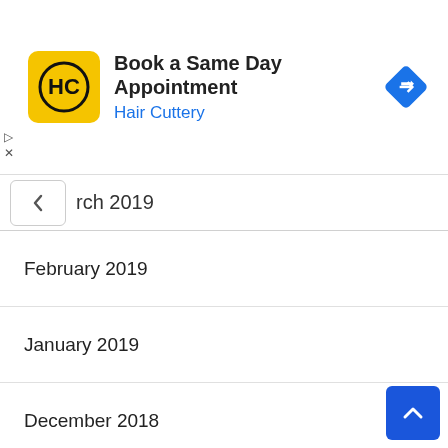[Figure (screenshot): Hair Cuttery advertisement banner with yellow logo, title 'Book a Same Day Appointment', subtitle 'Hair Cuttery' in blue, and a blue navigation arrow icon on the right.]
rch 2019
February 2019
January 2019
December 2018
November 2018
October 2018
September 2018